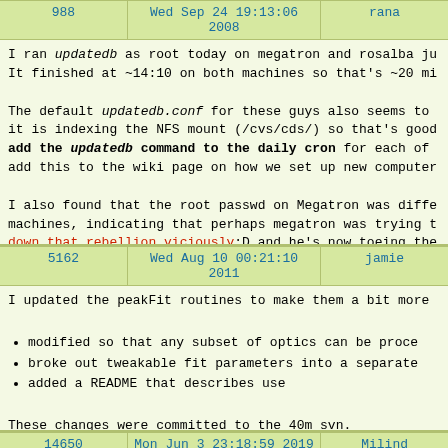| 988 | Wed Sep 24 19:13:06 2008 | rana |
| --- | --- | --- |
I ran updatedb as root today on megatron and rosalba ju It finished at ~14:10 on both machines so that's ~20 mi

The default updatedb.conf for these guys also seems to it is indexing the NFS mount (/cvs/cds/) so that's good add the updatedb command to the daily cron for each of add this to the wiki page on how we set up new computer

I also found that the root passwd on Megatron was diffe machines, indicating that perhaps megatron was trying t down that rebellion viciously:D and he's now toeing the
| 5162 | Wed Aug 10 00:21:10 2011 | jamie |
| --- | --- | --- |
I updated the peakFit routines to make them a bit more
modified so that any subset of optics can be proce
broke out tweakable fit parameters into a separate
added a README that describes use
These changes were committed to the 40m svn.
| 14650 | Mon Jun 3 23:18:59 2019 | Milind |
| --- | --- | --- |
I was working with the git repo in the SnapPy_pypylon f needed to create a branch. To avoid any confusion, I mo reflect the git branch so that the prompt now displays